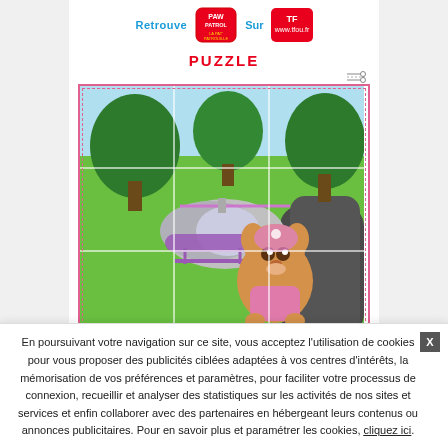[Figure (logo): Paw Patrol logo and TF1 logo with text 'Retrouve' and 'Sur']
PUZZLE
[Figure (illustration): Paw Patrol puzzle image divided into 3x3 grid showing Skye the puppy with a purple helicopter in a green outdoor setting with trees]
En poursuivant votre navigation sur ce site, vous acceptez l'utilisation de cookies pour vous proposer des publicités ciblées adaptées à vos centres d'intérêts, la mémorisation de vos préférences et paramètres, pour faciliter votre processus de connexion, recueillir et analyser des statistiques sur les activités de nos sites et services et enfin collaborer avec des partenaires en hébergeant leurs contenus ou annonces publicitaires. Pour en savoir plus et paramétrer les cookies, cliquez ici.